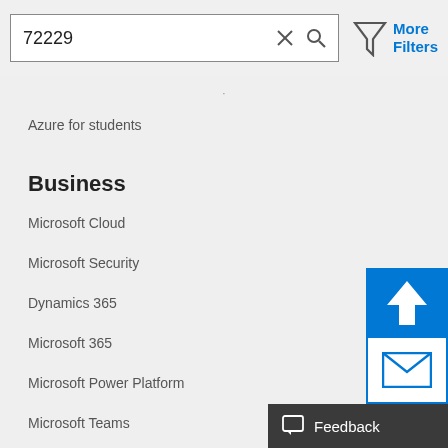72229
[Figure (screenshot): Search bar with '72229' text, X close icon and magnifying glass search icon, and a funnel filter icon with 'More Filters' text in blue]
Azure for students
Business
Microsoft Cloud
Microsoft Security
Dynamics 365
Microsoft 365
Microsoft Power Platform
Microsoft Teams
Microsoft Industry
Small Business
[Figure (screenshot): Email envelope icon button (white background, blue border) and blue up-arrow scroll button]
Feedback